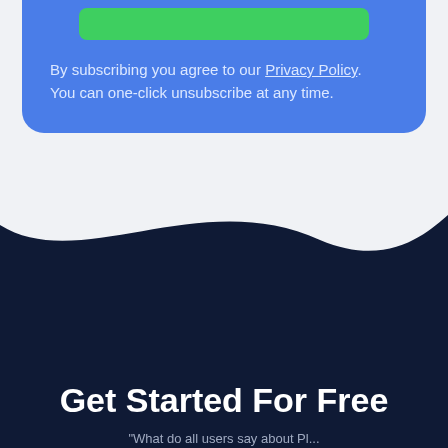[Figure (other): Green button element inside a blue card]
By subscribing you agree to our Privacy Policy. You can one-click unsubscribe at any time.
Get Started For Free
"What do all users say about Pl...